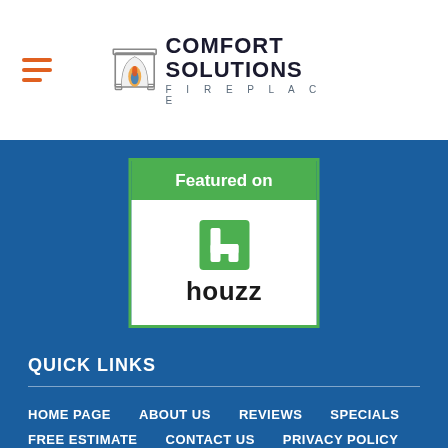[Figure (logo): Comfort Solutions Fireplace logo with hamburger menu icon, fireplace SVG icon and brand name]
[Figure (logo): Houzz Featured on badge - green header with white Houzz logo and text]
QUICK LINKS
HOME PAGE
ABOUT US
REVIEWS
SPECIALS
FREE ESTIMATE
CONTACT US
PRIVACY POLICY